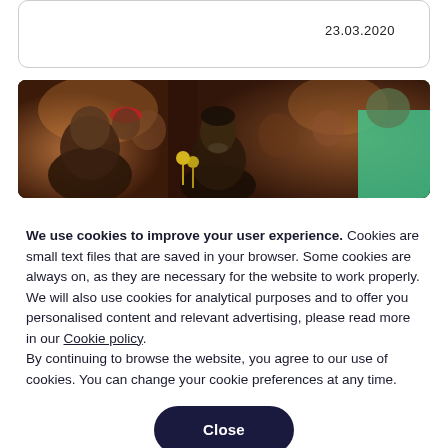23.03.2020
[Figure (photo): A crowd of people at an event or party, photographed in warm indoor lighting. Multiple people visible including a smiling person in the center foreground.]
We use cookies to improve your user experience. Cookies are small text files that are saved in your browser. Some cookies are always on, as they are necessary for the website to work properly. We will also use cookies for analytical purposes and to offer you personalised content and relevant advertising, please read more in our Cookie policy.
By continuing to browse the website, you agree to our use of cookies. You can change your cookie preferences at any time.
Close
Set your cookie preferences